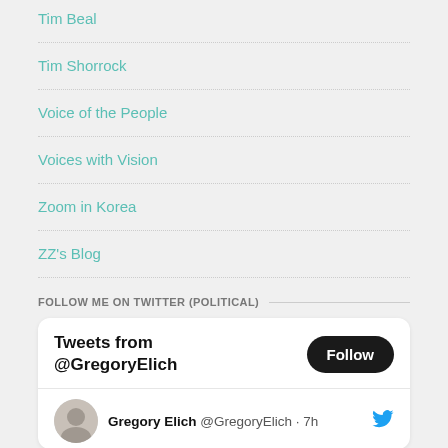Tim Beal
Tim Shorrock
Voice of the People
Voices with Vision
Zoom in Korea
ZZ's Blog
FOLLOW ME ON TWITTER (POLITICAL)
Tweets from @GregoryElich
Gregory Elich @GregoryElich · 7h